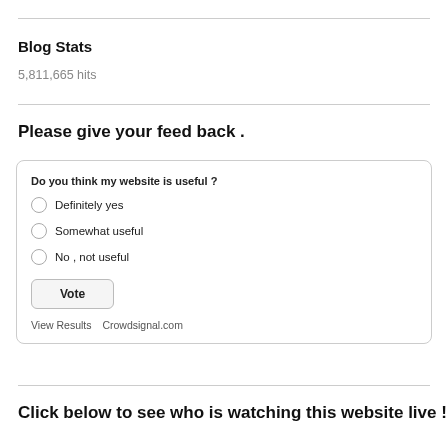Blog Stats
5,811,665 hits
Please give your feed back .
[Figure (other): Poll widget asking 'Do you think my website is useful?' with radio options: Definitely yes, Somewhat useful, No , not useful; a Vote button; and links to View Results and Crowdsignal.com]
Click below to see who is watching this website live !